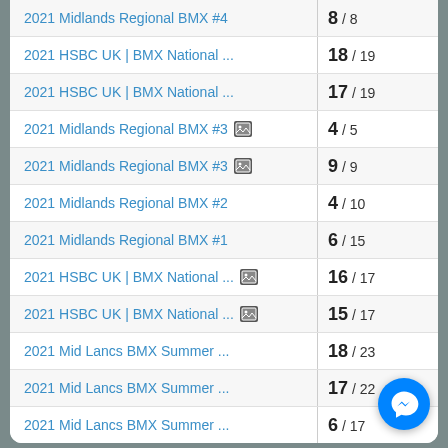| Event | Result |
| --- | --- |
| 2021 Midlands Regional BMX #4 | 8 / 8 |
| 2021 HSBC UK | BMX National ... | 18 / 19 |
| 2021 HSBC UK | BMX National ... | 17 / 19 |
| 2021 Midlands Regional BMX #3 [img] | 4 / 5 |
| 2021 Midlands Regional BMX #3 [img] | 9 / 9 |
| 2021 Midlands Regional BMX #2 | 4 / 10 |
| 2021 Midlands Regional BMX #1 | 6 / 15 |
| 2021 HSBC UK | BMX National ... [img] | 16 / 17 |
| 2021 HSBC UK | BMX National ... [img] | 15 / 17 |
| 2021 Mid Lancs BMX Summer ... | 18 / 23 |
| 2021 Mid Lancs BMX Summer ... | 17 / 22 |
| 2021 Mid Lancs BMX Summer ... | 6 / 17 |